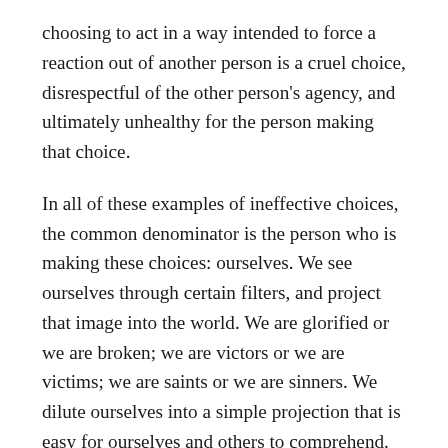choosing to act in a way intended to force a reaction out of another person is a cruel choice, disrespectful of the other person's agency, and ultimately unhealthy for the person making that choice.
In all of these examples of ineffective choices, the common denominator is the person who is making these choices: ourselves. We see ourselves through certain filters, and project that image into the world. We are glorified or we are broken; we are victors or we are victims; we are saints or we are sinners. We dilute ourselves into a simple projection that is easy for ourselves and others to comprehend. We treat ourselves the way we expect to be treated. I know that I am, in some ways, generalizing the situation, and that each of us is different as I said. The point here is that the greater truth, the fact of the matter, is that we create the